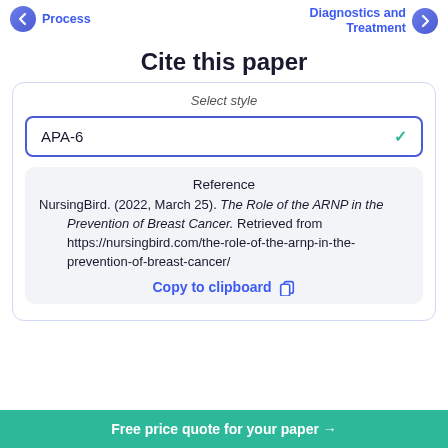Process | Diagnostics and Treatment
Cite this paper
Select style
APA-6
Reference
NursingBird. (2022, March 25). The Role of the ARNP in the Prevention of Breast Cancer. Retrieved from https://nursingbird.com/the-role-of-the-arnp-in-the-prevention-of-breast-cancer/
Copy to clipboard
Free price quote for your paper →